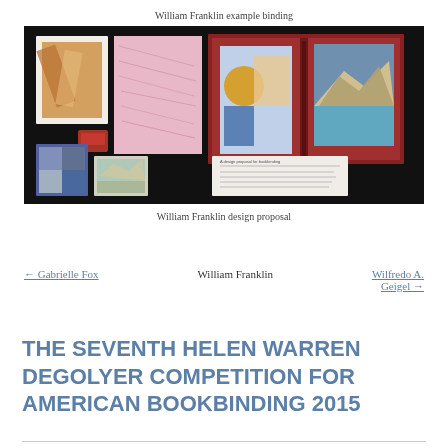William Franklin example binding
[Figure (photo): Photo of William Franklin example binding displayed on dark background, showing various book components including photographs, fabric swatches, and a red book cover]
William Franklin design proposal
← Gabrielle Fox   William Franklin   Wilfredo A. Geigel →
THE SEVENTH HELEN WARREN DEGOLYER COMPETITION FOR AMERICAN BOOKBINDING 2015